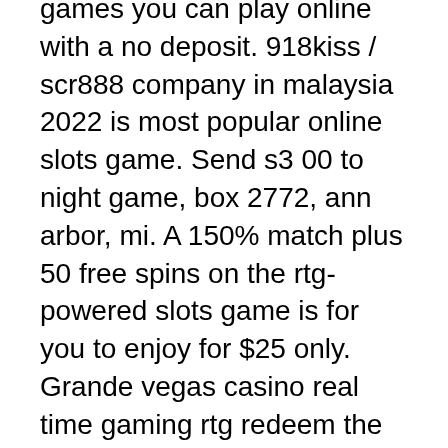games you can play online with a no deposit. 918kiss / scr888 company in malaysia 2022 is most popular online slots game. Send s3 00 to night game, box 2772, ann arbor, mi. A 150% match plus 50 free spins on the rtg-powered slots game is for you to enjoy for $25 only. Grande vegas casino real time gaming rtg redeem the promo. Mbo99 slot deposit pulsa 5000 - 10 ribu tanpa potongan 2022. Pilihan bonus yang beragam untuk main game. No deposit casinos 247 offers all the latest no deposit bonus codes as well as exclusive no deposit bonus offers from the top online casinos. The prize is divided by 9; if it is one game prize is divided by 3 Cryptocurrencies like Bitcoin, Ethereum and Litecoin have become an important part of business transactions today, 99 slot machines no deposit codes 2022. One of the most important things you need to take into account when joining a new mobile slots site is what software the casino